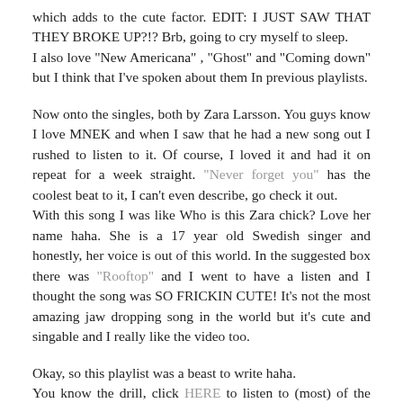which adds to the cute factor. EDIT: I JUST SAW THAT THEY BROKE UP?!? Brb, going to cry myself to sleep.
I also love "New Americana" , "Ghost" and "Coming down" but I think that I've spoken about them In previous playlists.
Now onto the singles, both by Zara Larsson. You guys know I love MNEK and when I saw that he had a new song out I rushed to listen to it. Of course, I loved it and had it on repeat for a week straight. "Never forget you" has the coolest beat to it, I can't even describe, go check it out.
With this song I was like Who is this Zara chick? Love her name haha. She is a 17 year old Swedish singer and honestly, her voice is out of this world. In the suggested box there was "Rooftop" and I went to have a listen and I thought the song was SO FRICKIN CUTE! It's not the most amazing jaw dropping song in the world but it's cute and singable and I really like the video too.
Okay, so this playlist was a beast to write haha.
You know the drill, click HERE to listen to (most) of the songs